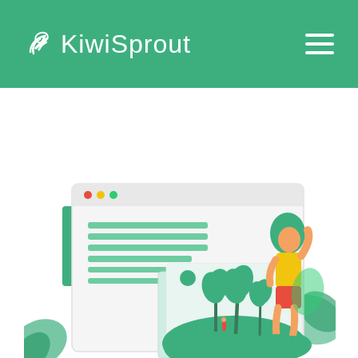[Figure (logo): KiwiSprout logo with leaf icon in white on green header background]
Read the Case Study →
[Figure (illustration): Browser window mockup with text lines on left and a tropical scene image (palm trees, person, green hills, sun) on right. A woman with green hair wearing yellow top and red shorts stands to the right, placing/adjusting the image. Green leaf plants in background lower corners.]